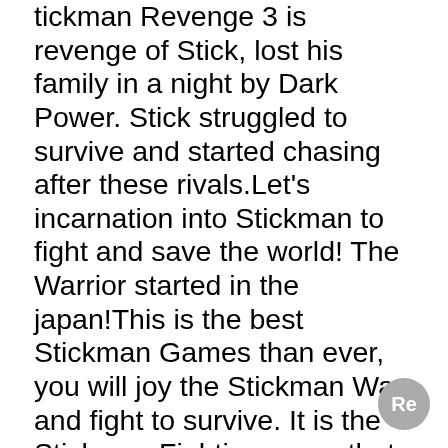tickman Revenge 3 is revenge of Stick, lost his family in a night by Dark Power. Stick struggled to survive and started chasing after these rivals.Let's incarnation into Stickman to fight and save the world! The Warrior started in the japan!This is the best Stickman Games than ever, you will joy the Stickman War and fight to survive. It is the Stickman Fighting game that you should try.Features:-Game Skills are very plentiful: Attack Speed Stick, Big And Furious Stick, Stick Intervention and Air blade Stick-Each map in this Stickman Games with different Monsters and samurai Boss has the characteristics and different modes of attack-Click on the “Attack” to guillotine, Control the stickman through pressing the left side of the screen to jump in the air.-Air Blade stick skill to guillotine much farther, Big and Furious stick skill helps stick change and attack the stronger opponent, Intervention Stick skill helps Stick becomes an immortal.-You should know how the Boss attack and how they be killed, when you know that, you will get the best way to make Stickman winStickman Revenge to guillotine and fight hard, help Stickman fight for his samur